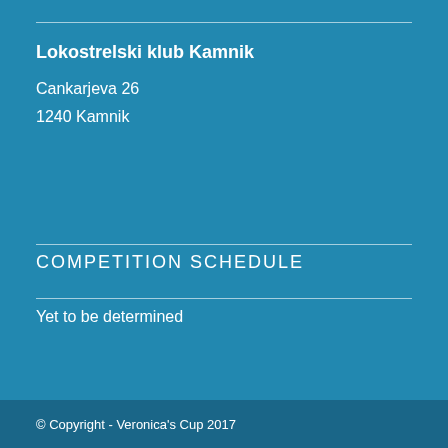Lokostrelski klub Kamnik
Cankarjeva 26
1240 Kamnik
COMPETITION SCHEDULE
Yet to be determined
© Copyright - Veronica's Cup 2017